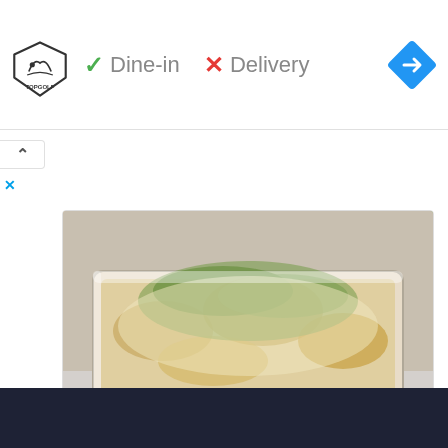[Figure (logo): TopGolf logo - shield with bird/swan emblem and TOPGOLF text below]
✓ Dine-in  ✕ Delivery
[Figure (illustration): Blue diamond navigation/directions icon with white arrow pointing right]
[Figure (photo): Chicken mushroom crepes in a glass baking dish, topped with herbs and cheese sauce]
Chicken Mushroom Crepes Recipe | Masala Mornings | Masala TV | Shireen Anwar | Fast Food